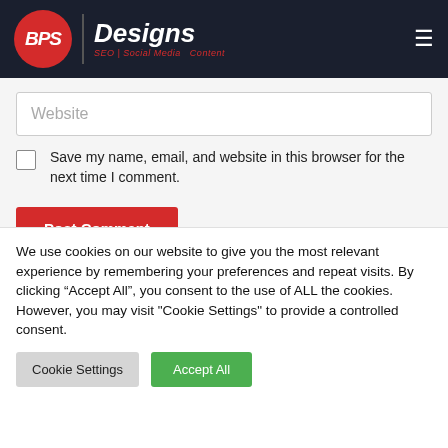[Figure (logo): BPS Designs logo with red circle containing white italic BPS text, vertical divider, and white italic Designs text with red SEO | Social Media | Content subtitle]
Website
Save my name, email, and website in this browser for the next time I comment.
Post Comment
We use cookies on our website to give you the most relevant experience by remembering your preferences and repeat visits. By clicking “Accept All”, you consent to the use of ALL the cookies. However, you may visit "Cookie Settings" to provide a controlled consent.
Cookie Settings
Accept All